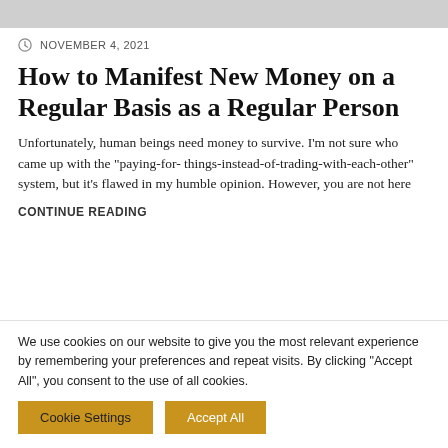[Figure (photo): Gray placeholder image strip at top of page]
NOVEMBER 4, 2021
How to Manifest New Money on a Regular Basis as a Regular Person
Unfortunately, human beings need money to survive. I'm not sure who came up with the "paying-for- things-instead-of-trading-with-each-other" system, but it's flawed in my humble opinion. However, you are not here
CONTINUE READING
We use cookies on our website to give you the most relevant experience by remembering your preferences and repeat visits. By clicking "Accept All", you consent to the use of all cookies.